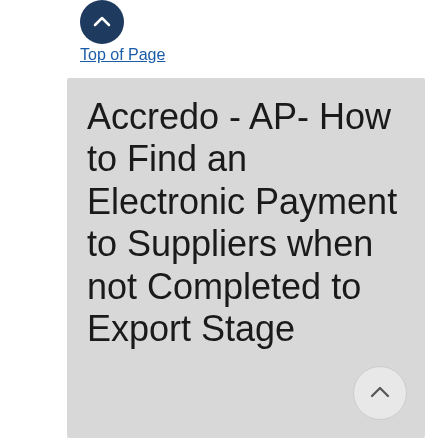[Figure (other): Navigation icon — circular dark navy button with an upward chevron]
Top of Page
Accredo - AP- How to Find an Electronic Payment to Suppliers when not Completed to Export Stage